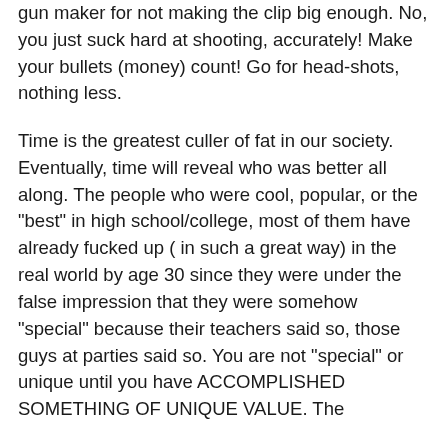gun maker for not making the clip big enough. No, you just suck hard at shooting, accurately! Make your bullets (money) count! Go for head-shots, nothing less.
Time is the greatest culler of fat in our society. Eventually, time will reveal who was better all along. The people who were cool, popular, or the "best" in high school/college, most of them have already fucked up ( in such a great way) in the real world by age 30 since they were under the false impression that they were somehow "special" because their teachers said so, those guys at parties said so. You are not "special" or unique until you have ACCOMPLISHED SOMETHING OF UNIQUE VALUE. The